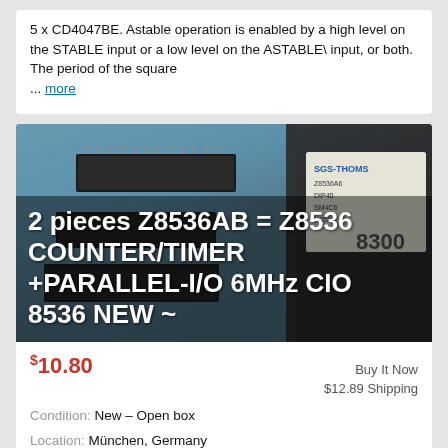5 x CD4047BE. Astable operation is enabled by a high level on the STABLE input or a low level on the ASTABLE\ input, or both. The period of the square ... more
[Figure (photo): Photo of electronic chips (Z8536AB ICs) on a blue surface next to SGS-Thomson packaging, with overlaid white bold text listing product details]
$10.80  Buy It Now  $12.89 Shipping
Condition: New – Open box
Location: München, Germany
The Z8536 is compatible to other Z8536 manufactures like ZILOG or AMD. The CIO is easily interfaced to all popu...lar microprocessors. ▲